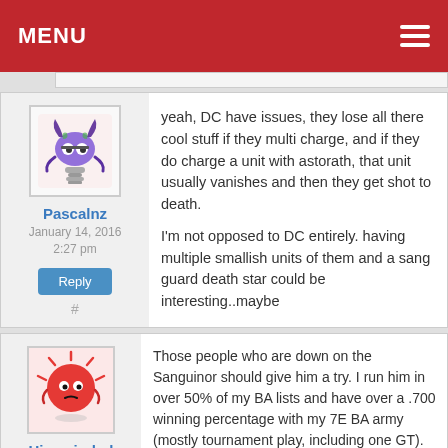MENU
yeah, DC have issues, they lose all there cool stuff if they multi charge, and if they do charge a unit with astorath, that unit usually vanishes and then they get shot to death.
I'm not opposed to DC entirely. having multiple smallish units of them and a sang guard death star could be interesting..maybe
Pascalnz
January 14, 2016
2:27 pm
Reply
#
Those people who are down on the Sanguinor should give him a try. I run him in over 50% of my BA lists and have over a .700 winning percentage with my 7E BA army (mostly tournament play, including one GT).
I run him with a Sanguinary Priest w/ power fist on a bike. Running this way, the two-model unit is T5 against shooting, is WS9 in close combat (so most people are hitting the Sanguinor on 5+), and has FNP. Against AP2 shooting, you can LoS the wounds onto the jinking sanguinary
Hiveminded
January 14, 2016
5:13 pm
Reply
#